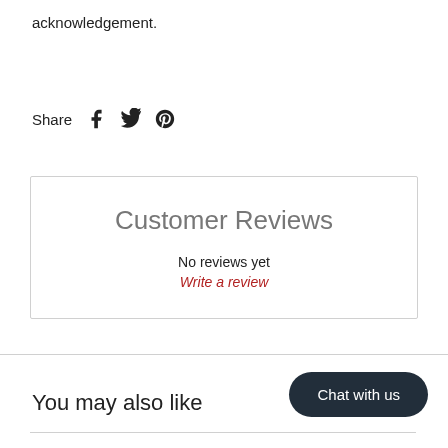acknowledgement.
Share
Customer Reviews
No reviews yet
Write a review
You may also like
Chat with us